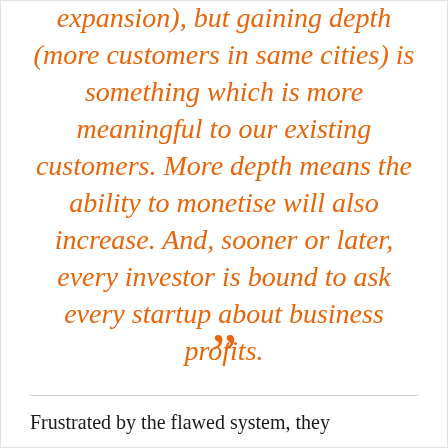expansion), but gaining depth (more customers in same cities) is something which is more meaningful to our existing customers. More depth means the ability to monetise will also increase. And, sooner or later, every investor is bound to ask every startup about business profits.
[Figure (illustration): Orange closing double quotation mark symbol]
Frustrated by the flawed system, they